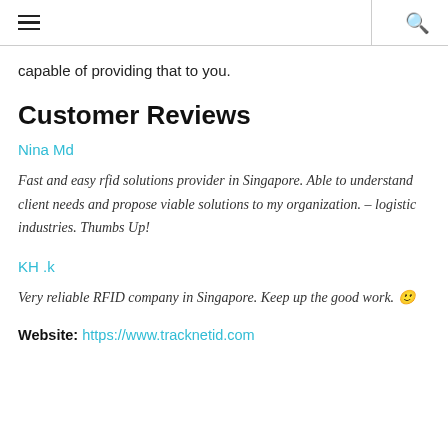≡  🔍
capable of providing that to you.
Customer Reviews
Nina Md
Fast and easy rfid solutions provider in Singapore. Able to understand client needs and propose viable solutions to my organization. – logistic industries. Thumbs Up!
KH .k
Very reliable RFID company in Singapore. Keep up the good work. 🙂
Website: https://www.tracknetid.com